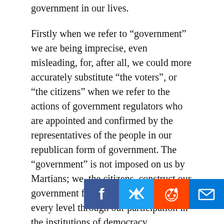government in our lives.
Firstly when we refer to “government” we are being imprecise, even misleading, for, after all, we could more accurately substitute “the voters”, or “the citizens” when we refer to the actions of government regulators who are appointed and confirmed by the representatives of the people in our republican form of government. The “government” is not imposed on us by Martians; we, the citizens, construct our government from the ground up at every level through our participation in the institutions of democracy.
I’m bemused to see that some of my fellow citizens who have been most intense in their denunciations of the role of “big government” in our lives, have been among the most strident accusers of Messrs. Opie and Anthony. The very same individuals who recoiled at the suggestion that the SEC implement n rigorous regulatory regime in the matter of corporate